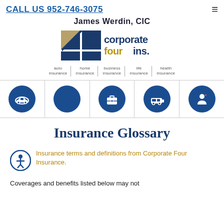CALL US 952-746-3075
James Werdin, CIC
[Figure (logo): Corporate Four Insurance logo with blue and tan grid squares and text 'corporate four ins.']
auto insurance | home insurance | business insurance | life insurance | health insurance
[Figure (illustration): Row of five circular blue icon buttons: car/auto, blank circle, briefcase/business, RV/vehicle, person with heart/health]
Insurance Glossary
Insurance terms and definitions from Corporate Four Insurance.
Coverages and benefits listed below may not